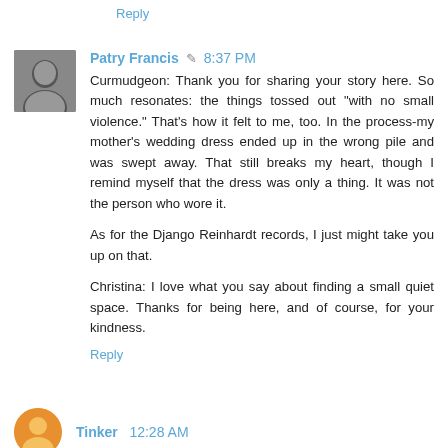Reply
Patry Francis  8:37 PM
Curmudgeon: Thank you for sharing your story here. So much resonates: the things tossed out "with no small violence." That's how it felt to me, too. In the process-my mother's wedding dress ended up in the wrong pile and was swept away. That still breaks my heart, though I remind myself that the dress was only a thing. It was not the person who wore it.

As for the Django Reinhardt records, I just might take you up on that.

Christina: I love what you say about finding a small quiet space. Thanks for being here, and of course, for your kindness.
Reply
Tinker  12:28 AM